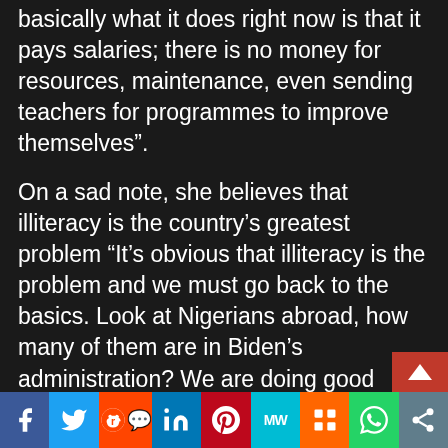basically what it does right now is that it pays salaries; there is no money for resources, maintenance, even sending teachers for programmes to improve themselves”.
On a sad note, she believes that illiteracy is the country’s greatest problem “It’s obvious that illiteracy is the problem and we must go back to the basics. Look at Nigerians abroad, how many of them are in Biden’s administration? We are doing good things, but must our children have that mindset that except they escape from Nigeria, they cannot be better? Literacy is what is going to set the minds of each person free. Nigeria is in this state because we have too many illiterates who cannot think for themselves and all they do is listen to
f  Twitter  Reddit  in  Pinterest  MW  Mix  WhatsApp  Share